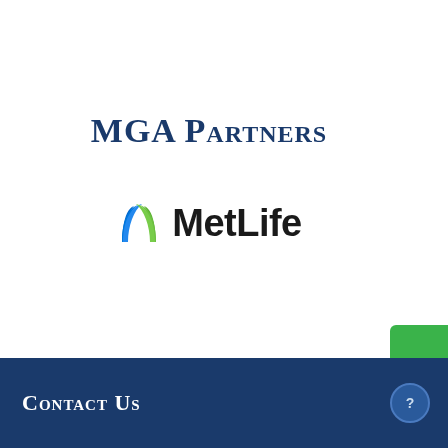[Figure (logo): MGA Partners text logo in dark navy blue with small-caps serif font]
[Figure (logo): MetLife logo with blue and green M icon followed by MetLife wordmark in bold sans-serif]
[Figure (other): Green Donate tab on right edge with vertical text and heart icon]
Contact Us
[Figure (other): Blue circular help/question mark button in footer]